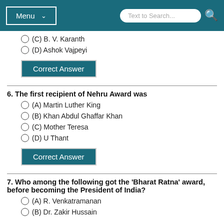Menu | Text to Search...
(C) B. V. Karanth
(D) Ashok Vajpeyi
Correct Answer
6. The first recipient of Nehru Award was
(A) Martin Luther King
(B) Khan Abdul Ghaffar Khan
(C) Mother Teresa
(D) U Thant
Correct Answer
7. Who among the following got the 'Bharat Ratna' award, before becoming the President of India?
(A) R. Venkatramanan
(B) Dr. Zakir Hussain